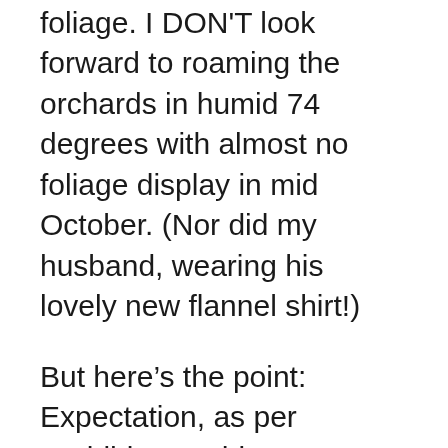gorgeous New England foliage. I DON'T look forward to roaming the orchards in humid 74 degrees with almost no foliage display in mid October. (Nor did my husband, wearing his lovely new flannel shirt!)
But here's the point: Expectation, as per Buddhist teaching, can really set us up for problems. You want a rose, but get a marigold, then feel dejected, as though it wasn't still a lovely flower! You want the whole New England leaf-peeping experience, then feel cheated when the temperature and foliage is more like an August day. Yet, you still get the apples and a day in the country with your loved one(s).  So, I recommend that you learn to go with the flow, whether it's a sideways photo or an apple picking event, take it for what it's worth, have a good laugh, and enjoy being alive! (As my sister Marge says, “It's certainly better than the